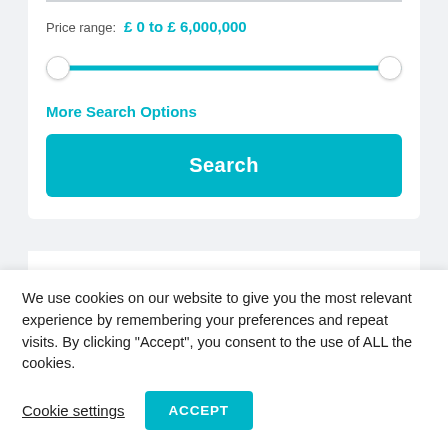Price range: £ 0 to £ 6,000,000
More Search Options
Search
We use cookies on our website to give you the most relevant experience by remembering your preferences and repeat visits. By clicking “Accept”, you consent to the use of ALL the cookies.
Cookie settings
ACCEPT